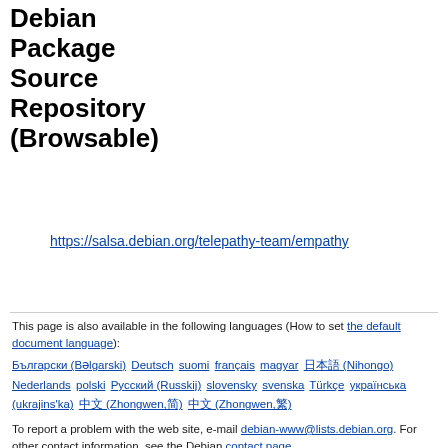Debian Package Source Repository (Browsable)
https://salsa.debian.org/telepathy-team/empathy
This page is also available in the following languages (How to set the default document language):
Български (Bəlgarski) Deutsch suomi français magyar 日本語 (Nihongo) Nederlands polski Русский (Russkij) slovensky svenska Türkçe українська (ukrajins'ka) 中文 (Zhongwen,简) 中文 (Zhongwen,繁)
To report a problem with the web site, e-mail debian-www@lists.debian.org. For other contact information, see the Debian contact page.
Content Copyright © 1997 - 2022 SPI Inc.; See license terms. Debian is a trademark of SPI Inc. Learn more about this site.
This service is sponsored by MIT Computer Science & Artificial Intelligence Lab.